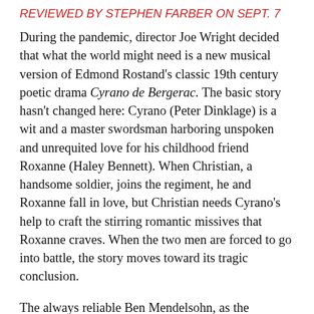REVIEWED BY STEPHEN FARBER ON SEPT. 7
During the pandemic, director Joe Wright decided that what the world might need is a new musical version of Edmond Rostand’s classic 19th century poetic drama Cyrano de Bergerac. The basic story hasn’t changed here: Cyrano (Peter Dinklage) is a wit and a master swordsman harboring unspoken and unrequited love for his childhood friend Roxanne (Haley Bennett). When Christian, a handsome soldier, joins the regiment, he and Roxanne fall in love, but Christian needs Cyrano’s help to craft the stirring romantic missives that Roxanne craves. When the two men are forced to go into battle, the story moves toward its tragic conclusion.
The always reliable Ben Mendelsohn, as the villainous De Guiche, delivers a musical manifesto that is quite compelling. Kelvin Harrison, who plays Christian, is